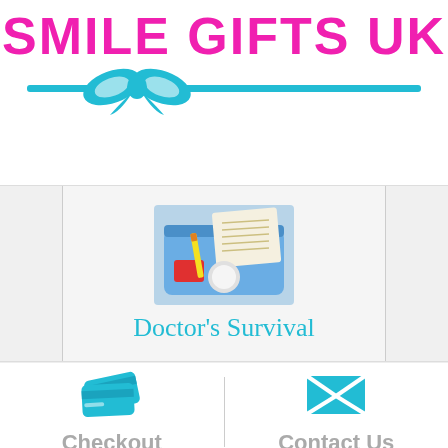[Figure (logo): Smile Gifts UK logo with pink text and teal bow and bar decoration]
[Figure (photo): Doctor's Survival Kit product photo showing a blue pouch with medical items]
Doctor's Survival
[Figure (illustration): Teal credit card / checkout icon]
Checkout
[Figure (illustration): Teal envelope / Contact Us icon]
Contact Us
[Figure (illustration): Teal cart/bag icon partially visible at bottom]